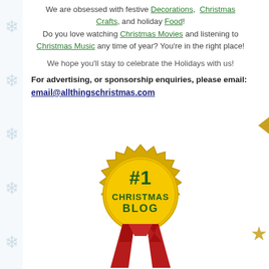We are obsessed with festive Decorations, Christmas Crafts, and holiday Food! Do you love watching Christmas Movies and listening to Christmas Music any time of year? You're in the right place!
We hope you'll stay to celebrate the Holidays with us!
For advertising, or sponsorship enquiries, please email: email@allthingschristmas.com
[Figure (illustration): #1 Christmas Blog gold badge/medallion with red ribbon, award seal style]